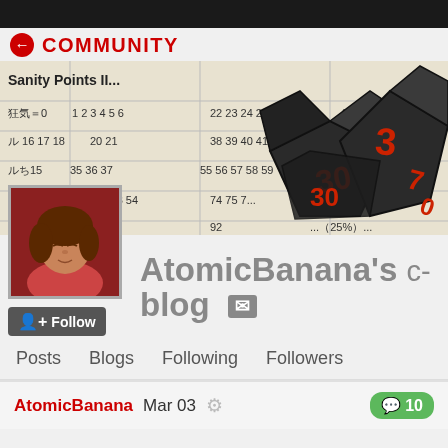COMMUNITY
[Figure (photo): Banner image showing black polyhedral dice (d10s with red numbers 3, 7, 0, 30) on top of a Japanese/English Call of Cthulhu tabletop RPG sanity points reference sheet]
[Figure (illustration): Avatar: anime-style illustration of a brown-haired person with eyes closed, sitting against a red/maroon background]
+ Follow
AtomicBanana's c-blog
Posts  Blogs  Following  Followers
AtomicBanana   Mar 03
10